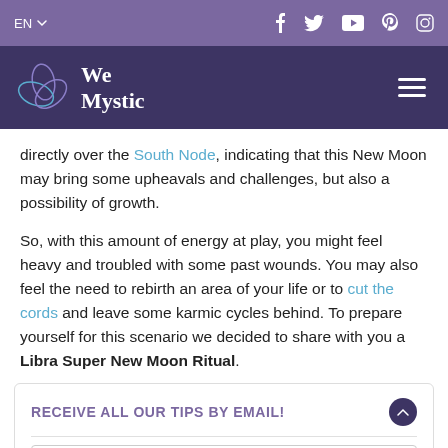EN | social icons (Facebook, Twitter, YouTube, Pinterest, Instagram)
We Mystic (logo + navigation)
directly over the South Node, indicating that this New Moon may bring some upheavals and challenges, but also a possibility of growth.
So, with this amount of energy at play, you might feel heavy and troubled with some past wounds. You may also feel the need to rebirth an area of your life or to cut the cords and leave some karmic cycles behind. To prepare yourself for this scenario we decided to share with you a Libra Super New Moon Ritual.
RECEIVE ALL OUR TIPS BY EMAIL!